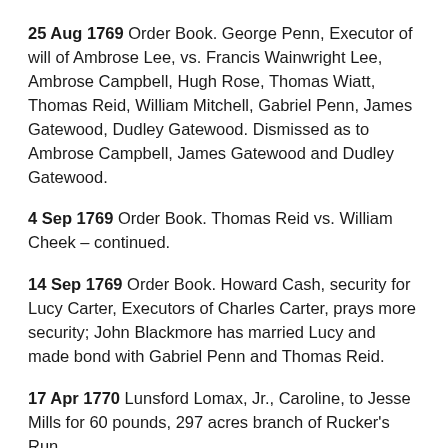25 Aug 1769 Order Book.  George Penn, Executor of will of Ambrose Lee, vs. Francis Wainwright Lee, Ambrose Campbell, Hugh Rose, Thomas Wiatt, Thomas Reid, William Mitchell, Gabriel Penn, James Gatewood, Dudley Gatewood.  Dismissed as to Ambrose Campbell, James Gatewood and Dudley Gatewood.
4 Sep 1769 Order Book.  Thomas Reid vs. William Cheek – continued.
14 Sep 1769 Order Book.  Howard Cash, security for Lucy Carter, Executors of Charles Carter, prays more security; John Blackmore has married Lucy and made bond with Gabriel Penn and Thomas Reid.
17 Apr 1770 Lunsford Lomax, Jr., Caroline, to Jesse Mills for 60 pounds, 297 acres branch of Rucker's Run.